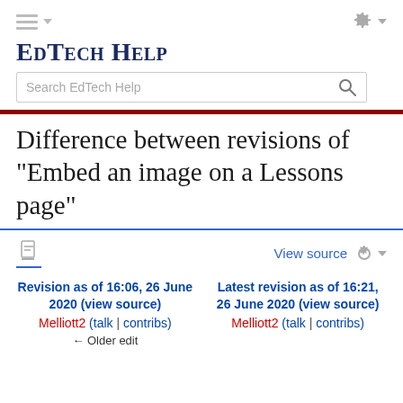EdTech Help
Difference between revisions of "Embed an image on a Lessons page"
View source
Revision as of 16:06, 26 June 2020 (view source)
Melliott2 (talk | contribs)
← Older edit
Latest revision as of 16:21, 26 June 2020 (view source)
Melliott2 (talk | contribs)